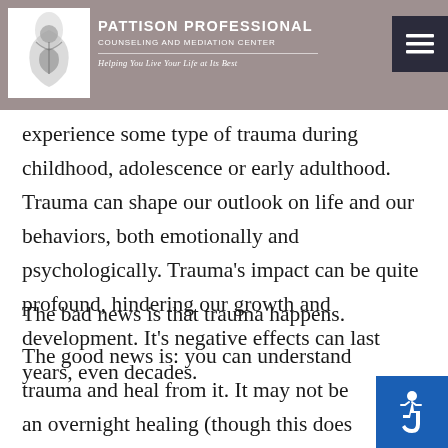PATTISON PROFESSIONAL COUNSELING AND MEDIATION CENTER — Helping You Live Your Life at Its Best
experience some type of trauma during childhood, adolescence or early adulthood. Trauma can shape our outlook on life and our behaviors, both emotionally and psychologically. Trauma's impact can be quite profound, hindering our growth and development. It's negative effects can last years, even decades.
The bad news is that trauma happens.
The good news is: you can understand trauma and heal from it. It may not be an overnight healing (though this does occur), but healing will come through dedicated effort and work on your psychological well-being.